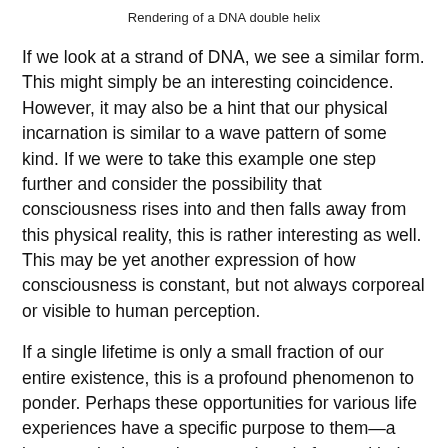Rendering of a DNA double helix
If we look at a strand of DNA, we see a similar form. This might simply be an interesting coincidence. However, it may also be a hint that our physical incarnation is similar to a wave pattern of some kind. If we were to take this example one step further and consider the possibility that consciousness rises into and then falls away from this physical reality, this is rather interesting as well. This may be yet another expression of how consciousness is constant, but not always corporeal or visible to human perception.
If a single lifetime is only a small fraction of our entire existence, this is a profound phenomenon to ponder. Perhaps these opportunities for various life experiences have a specific purpose to them—a lesson to be learned or an end goal of some kind. According to one particular text, this principle is very close to the truth.